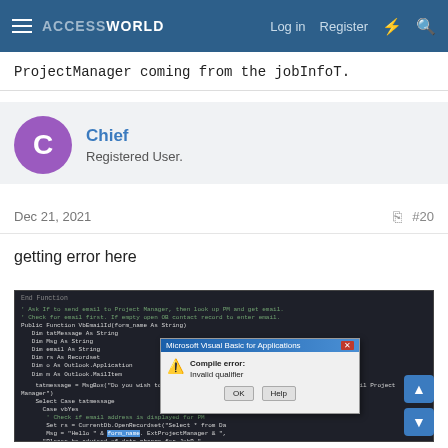ACCESSWORLD — Log in  Register
ProjectManager coming from the jobInfoT.
Chief
Registered User.
Dec 21, 2021  #20
getting error here
[Figure (screenshot): Screenshot of VBA code editor showing code for sending email to Project Manager, with a Microsoft Visual Basic for Applications error dialog overlay showing 'Compile error: Invalid qualifier' with OK and Help buttons.]